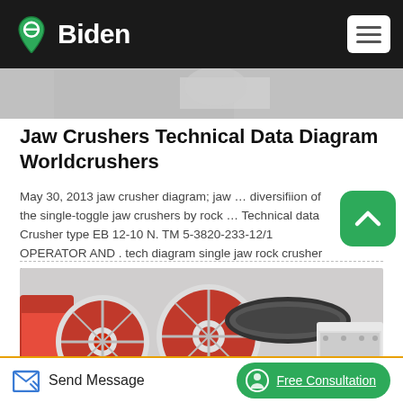Biden
[Figure (photo): Partial view of industrial machinery, grey tones, cropped at top of content area]
Jaw Crushers Technical Data Diagram Worldcrushers
May 30, 2013 jaw crusher diagram; jaw … diversifiion of the single-toggle jaw crushers by rock … Technical data Crusher type EB 12-10 N. TM 5-3820-233-12/1 OPERATOR AND . tech diagram single jaw rock crusher in Sydney, New Sout…
[Figure (photo): Industrial jaw crusher machinery with large red and white rollers/wheels and mechanical components, photographed in a workshop or factory setting]